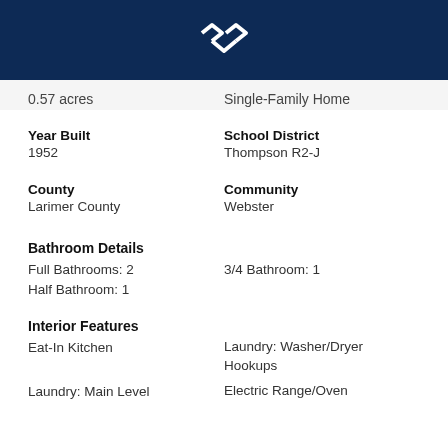[Figure (logo): Real estate company logo with interlocking diamond/arrow shapes in white on dark navy background]
0.57 acres
Single-Family Home
Year Built
1952
School District
Thompson R2-J
County
Larimer County
Community
Webster
Bathroom Details
Full Bathrooms: 2
3/4 Bathroom: 1
Half Bathroom: 1
Interior Features
Eat-In Kitchen
Laundry: Washer/Dryer Hookups
Laundry: Main Level
Electric Range/Oven